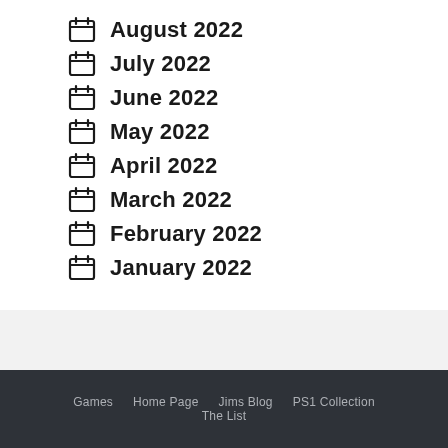August 2022
July 2022
June 2022
May 2022
April 2022
March 2022
February 2022
January 2022
Games  Home Page  Jims Blog  PS1 Collection  The List